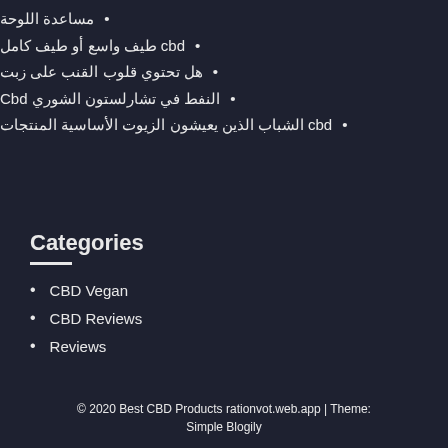مساعدة اللوحة
cbd طيف واسع أو طيف كامل
هل تحتوي قلوب القنب على زبت
النفط في تشارلستون الشوري Cbd
cbd الشباب الذين يعيشون الزيوت الأساسية المنتجات
Categories
CBD Vegan
CBD Reviews
Reviews
© 2020 Best CBD Products rationvot.web.app | Theme: Simple Blogily